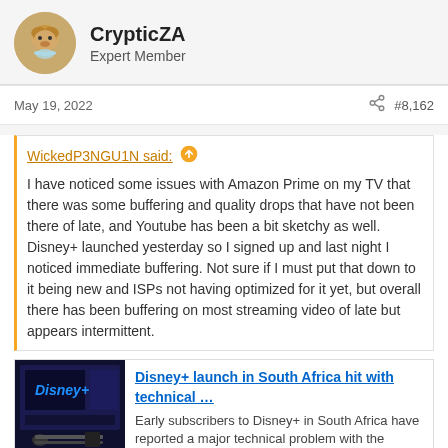CrypticZA
Expert Member
May 19, 2022
#8,162
WickedP3NGU1N said: ↑

I have noticed some issues with Amazon Prime on my TV that there was some buffering and quality drops that have not been there of late, and Youtube has been a bit sketchy as well. Disney+ launched yesterday so I signed up and last night I noticed immediate buffering. Not sure if I must put that down to it being new and ISPs not having optimized for it yet, but overall there has been buffering on most streaming video of late but appears intermittent.
[Figure (screenshot): Link card thumbnail showing Disney+ interface on a TV screen]
Disney+ launch in South Africa hit with technical ...
Early subscribers to Disney+ in South Africa have reported a major technical problem with the platform.
mybroadband.co.za
Seen complains everywhere where it just was a flat flop last night.